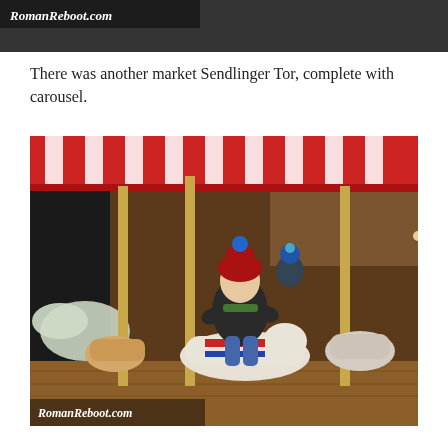[Figure (photo): Top portion of a photo from RomanReboot.com, showing dark background scene from a Christmas market]
There was another market Sendlinger Tor, complete with carousel.
[Figure (photo): Photo from RomanReboot.com showing a young child in a winter hat and jacket riding a carousel pig at a Christmas market, with red and white striped canopy overhead and wooden stalls in background]